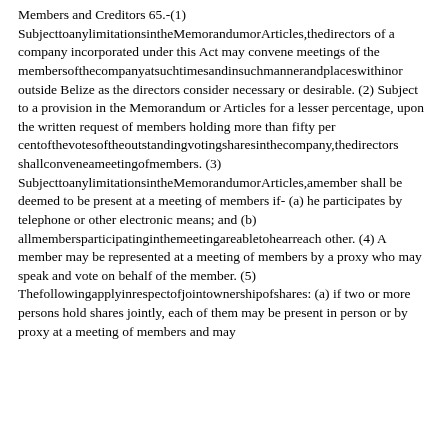Members and Creditors 65.-(1) SubjecttoanylimitationsintheMemorandumorArticles,thedirectors of a company incorporated under this Act may convene meetings of the membersofthecompanyatsuchtimesandinsuchmannerandplaceswithinor outside Belize as the directors consider necessary or desirable. (2) Subject to a provision in the Memorandum or Articles for a lesser percentage, upon the written request of members holding more than fifty per centofthevotesoftheoutstandingvotingsharesinthecompany,thedirectors shallconveneameetingofmembers. (3) SubjecttoanylimitationsintheMemorandumorArticles,amember shall be deemed to be present at a meeting of members if- (a) he participates by telephone or other electronic means; and (b) allmembersparticipatinginthemeetingareabletohearreach other. (4) A member may be represented at a meeting of members by a proxy who may speak and vote on behalf of the member. (5) Thefollowingapplyinrespectofjointownershipofshares: (a) if two or more persons hold shares jointly, each of them may be present in person or by proxy at a meeting of members and may